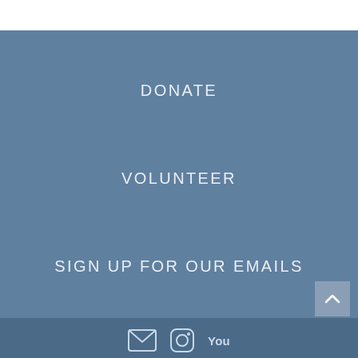DONATE
VOLUNTEER
SIGN UP FOR OUR EMAILS
Social media icons: email, Instagram, YouTube